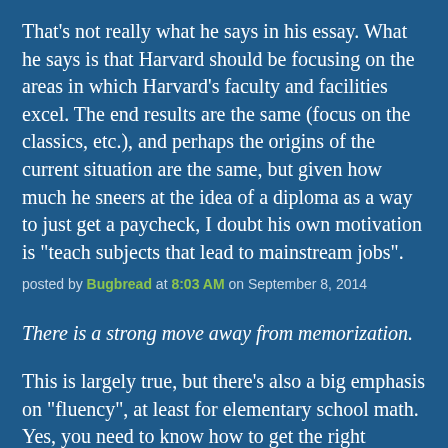That's not really what he says in his essay. What he says is that Harvard should be focusing on the areas in which Harvard's faculty and facilities excel. The end results are the same (focus on the classics, etc.), and perhaps the origins of the current situation are the same, but given how much he sneers at the idea of a diploma as a way to just get a paycheck, I doubt his own motivation is "teach subjects that lead to mainstream jobs".
posted by Bugbread at 8:03 AM on September 8, 2014
There is a strong move away from memorization.
This is largely true, but there's also a big emphasis on "fluency", at least for elementary school math. Yes, you need to know how to get the right answer, but the Common Core also recognizes that it really, really helps if you know all of your addition/multiplication/whatever facts off the top of